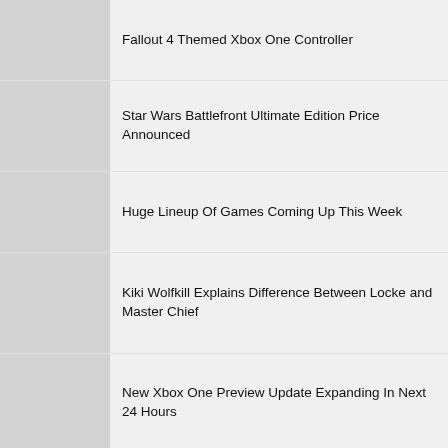Fallout 4 Themed Xbox One Controller
Star Wars Battlefront Ultimate Edition Price Announced
Huge Lineup Of Games Coming Up This Week
Kiki Wolfkill Explains Difference Between Locke and Master Chief
New Xbox One Preview Update Expanding In Next 24 Hours